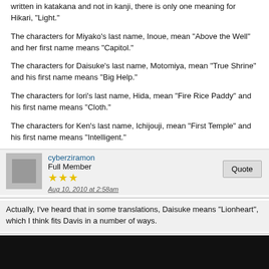written in katakana and not in kanji, there is only one meaning for Hikari, "Light."
The characters for Miyako's last name, Inoue, mean "Above the Well" and her first name means "Capitol."
The characters for Daisuke's last name, Motomiya, mean "True Shrine" and his first name means "Big Help."
The characters for Iori's last name, Hida, mean "Fire Rice Paddy" and his first name means "Cloth."
The characters for Ken's last name, Ichijouji, mean "First Temple" and his first name means "Intelligent."
cyberziramon
Full Member
★★★
Aug 10, 2010 at 2:58am
Actually, I've heard that in some translations, Daisuke means "Lionheart", which I think fits Davis in a number of ways.
Magna
God